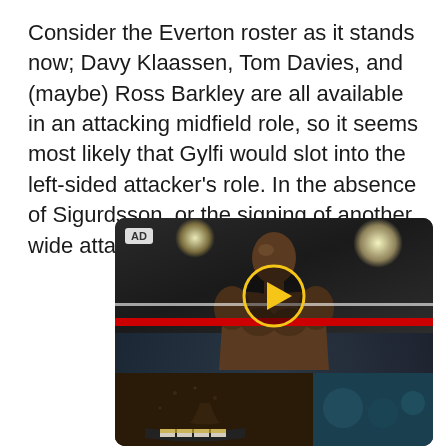Consider the Everton roster as it stands now; Davy Klaassen, Tom Davies, and (maybe) Ross Barkley are all available in an attacking midfield role, so it seems most likely that Gylfi would slot into the left-sided attacker's role. In the absence of Sigurdsson, or the signing of another wide attacking player, who is left?
[Figure (photo): Advertisement video thumbnail showing a boxer (athlete) standing in a boxing ring under bright arena lights, with a yellow play button overlay in the center. The top half shows the athlete from the waist up with a red boxing ring rope visible. The bottom half shows a close-up of another boxer's face and a teal background on the right side. An 'AD' badge appears in the top-left corner.]